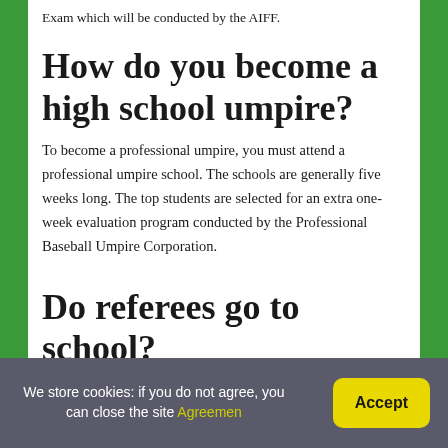Exam which will be conducted by the AIFF.
How do you become a high school umpire?
To become a professional umpire, you must attend a professional umpire school. The schools are generally five weeks long. The top students are selected for an extra one-week evaluation program conducted by the Professional Baseball Umpire Corporation.
Do referees go to school?
We store cookies: if you do not agree, you can close the site Agreemen